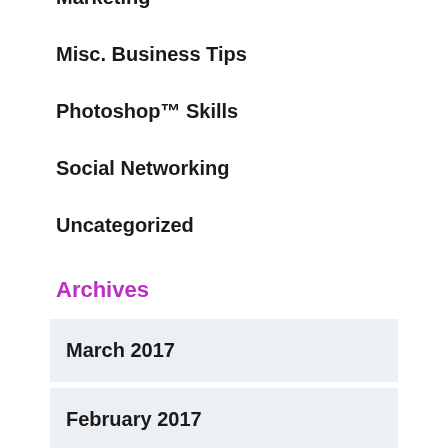Marketing
Misc. Business Tips
Photoshop™ Skills
Social Networking
Uncategorized
Archives
March 2017
February 2017
January 2017